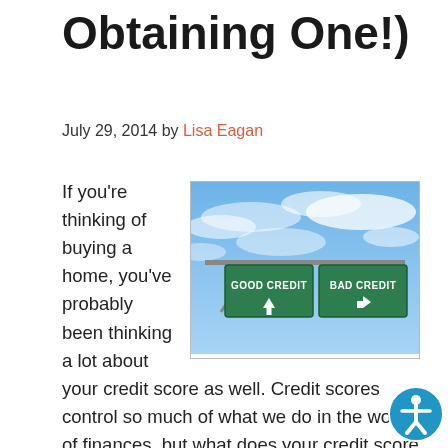Obtaining One!)
July 29, 2014 by Lisa Eagan
[Figure (photo): Road sign illustration showing two highway signs side by side: 'GOOD CREDIT' with an up arrow and 'BAD CREDIT' with a right-turn arrow, set against a blue sky with clouds.]
If you're thinking of buying a home, you've probably been thinking a lot about your credit score as well. Credit scores control so much of what we do in the world of finances, but what does your credit score really have to do with your mortgage? Here are three ways that your credit score could impact your mortgage